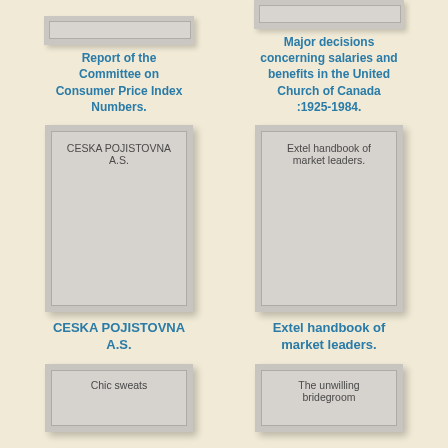[Figure (illustration): Partial book cover (cropped top) - Report of the Committee on Consumer Price Index Numbers]
Report of the Committee on Consumer Price Index Numbers.
[Figure (illustration): Partial book cover (cropped top) - Major decisions concerning salaries and benefits in the United Church of Canada :1925-1984.]
Major decisions concerning salaries and benefits in the United Church of Canada :1925-1984.
[Figure (illustration): Book cover - CESKA POJISTOVNA A.S.]
CESKA POJISTOVNA A.S.
[Figure (illustration): Book cover - Extel handbook of market leaders.]
Extel handbook of market leaders.
[Figure (illustration): Partial book cover (cropped bottom) - Chic sweats]
[Figure (illustration): Partial book cover (cropped bottom) - The unwilling bridegroom]